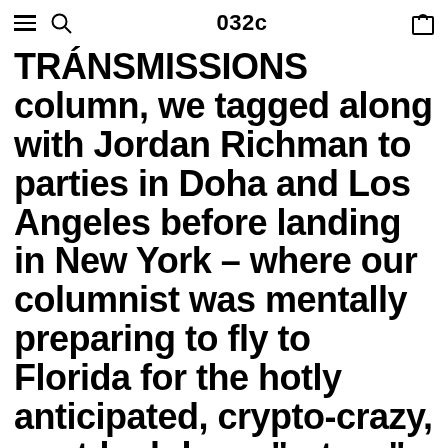032c
TRÁNSMISSIONS column, we tagged along with Jordan Richman to parties in Doha and Los Angeles before landing in New York – where our columnist was mentally preparing to fly to Florida for the hotly anticipated, crypto-crazy, post-lockdown “return” of Art Basel Miami Beach. Amid Covid-19